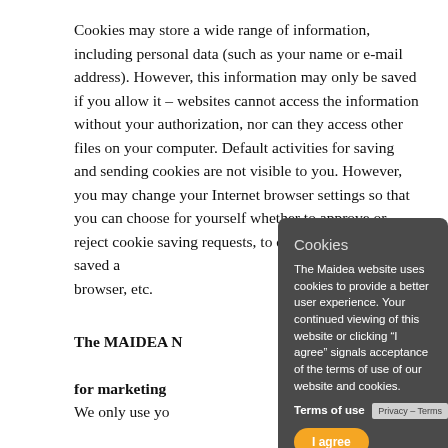Cookies may store a wide range of information, including personal data (such as your name or e-mail address). However, this information may only be saved if you allow it – websites cannot access the information without your authorization, nor can they access other files on your computer. Default activities for saving and sending cookies are not visible to you. However, you may change your Internet browser settings so that you can choose for yourself whether to approve or reject cookie saving requests, to delete the cookies saved and to block new cookies being stored on your browser, etc.
The MAIDEA NEWSLETTER: use of personal data for marketing purposes
We only use your personal data for marketing purposes. To subscribe to the newsletter, you submit your e-mail address to us. Processing these data for marketing purposes is done in pursuit of legitimate interests. The MAIDEA newsletter is sent ... in exceptional circumstances ... and notices about changes regarding our business and our ...
[Figure (screenshot): Cookie consent modal dialog box with dark grey background. Title 'Cookies' in light grey. Body text: 'The Maidea website uses cookies to provide a better user experience. Your continued viewing of this website or clicking "I agree" signals acceptance of the terms of use of our website and cookies.' Bold 'Terms of use' link. Yellow rounded 'I agree' button. Privacy-Terms label in bottom-right corner.]